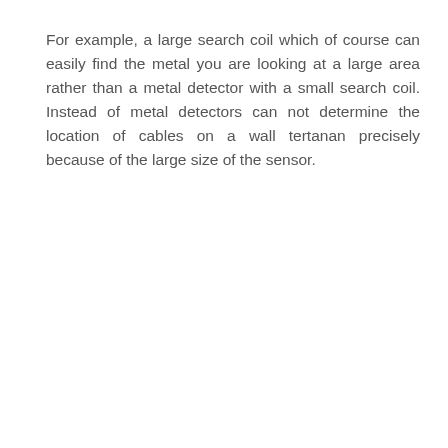For example, a large search coil which of course can easily find the metal you are looking at a large area rather than a metal detector with a small search coil. Instead of metal detectors can not determine the location of cables on a wall tertanan precisely because of the large size of the sensor.